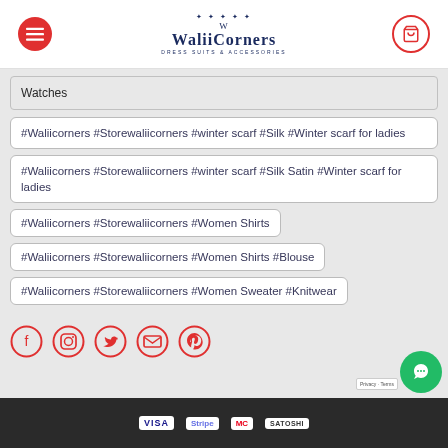WaliiCorners
Watches
#Waliicorners #Storewaliicorners #winter scarf #Silk #Winter scarf for ladies
#Waliicorners #Storewaliicorners #winter scarf #Silk Satin #Winter scarf for ladies
#Waliicorners #Storewaliicorners #Women Shirts
#Waliicorners #Storewaliicorners #Women Shirts #Blouse
#Waliicorners #Storewaliicorners #Women Sweater #Knitwear
[Figure (other): Social media icons: Facebook, Instagram, Twitter, Email, Pinterest — all in red circle outlines]
VISA | Stripe | Mastercard | SATOSHI